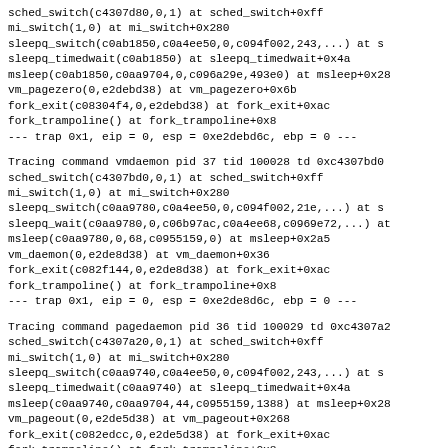sched_switch(c4307d80,0,1) at sched_switch+0xff
mi_switch(1,0) at mi_switch+0x280
sleepq_switch(c0ab1850,c0a4ee50,0,c094f002,243,...) at s
sleepq_timedwait(c0ab1850) at sleepq_timedwait+0x4a
msleep(c0ab1850,c0aa9704,0,c096a29e,493e0) at msleep+0x28
vm_pagezero(0,e2debd38) at vm_pagezero+0x6b
fork_exit(c08304f4,0,e2debd38) at fork_exit+0xac
fork_trampoline() at fork_trampoline+0x8
--- trap 0x1, eip = 0, esp = 0xe2debd6c, ebp = 0 ---
Tracing command vmdaemon pid 37 tid 100028 td 0xc4307bd0
sched_switch(c4307bd0,0,1) at sched_switch+0xff
mi_switch(1,0) at mi_switch+0x280
sleepq_switch(c0aa9780,c0a4ee50,0,c094f002,21e,...) at s
sleepq_wait(c0aa9780,0,c06b97ac,c0a4ee68,c0969e72,...) at
msleep(c0aa9780,0,68,c0955159,0) at msleep+0x2a5
vm_daemon(0,e2de8d38) at vm_daemon+0x36
fork_exit(c082f144,0,e2de8d38) at fork_exit+0xac
fork_trampoline() at fork_trampoline+0x8
--- trap 0x1, eip = 0, esp = 0xe2de8d6c, ebp = 0 ---
Tracing command pagedaemon pid 36 tid 100029 td 0xc4307a20
sched_switch(c4307a20,0,1) at sched_switch+0xff
mi_switch(1,0) at mi_switch+0x280
sleepq_switch(c0aa9740,c0a4ee50,0,c094f002,243,...) at s
sleepq_timedwait(c0aa9740) at sleepq_timedwait+0x4a
msleep(c0aa9740,c0aa9704,44,c0955159,1388) at msleep+0x28
vm_pageout(0,e2de5d38) at vm_pageout+0x268
fork_exit(c082edcc,0,e2de5d38) at fork_exit+0xac
fork_trampoline() at fork_trampoline+0x8
--- trap 0x1, eip = 0, esp = 0xe2de5d6c, ebp = 0